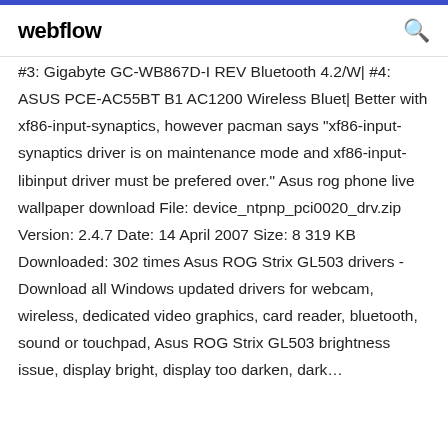webflow
#3: Gigabyte GC-WB867D-I REV Bluetooth 4.2/W| #4: ASUS PCE-AC55BT B1 AC1200 Wireless Bluet| Better with xf86-input-synaptics, however pacman says "xf86-input-synaptics driver is on maintenance mode and xf86-input-libinput driver must be prefered over." Asus rog phone live wallpaper download File: device_ntpnp_pci0020_drv.zip Version: 2.4.7 Date: 14 April 2007 Size: 8 319 KB Downloaded: 302 times Asus ROG Strix GL503 drivers - Download all Windows updated drivers for webcam, wireless, dedicated video graphics, card reader, bluetooth, sound or touchpad, Asus ROG Strix GL503 brightness issue, display bright, display too darken, dark…